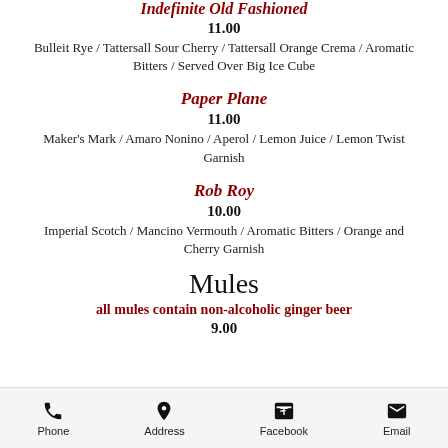Indefinite Old Fashioned
11.00
Bulleit Rye / Tattersall Sour Cherry / Tattersall Orange Crema / Aromatic Bitters / Served Over Big Ice Cube
Paper Plane
11.00
Maker's Mark / Amaro Nonino / Aperol / Lemon Juice / Lemon Twist Garnish
Rob Roy
10.00
Imperial Scotch / Mancino Vermouth / Aromatic Bitters / Orange and Cherry Garnish
Mules
all mules contain non-alcoholic ginger beer
9.00
Phone  Address  Facebook  Email